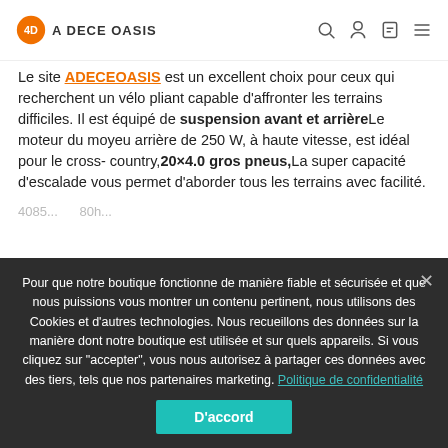A DECE OASIS
Le site ADECEOASIS est un excellent choix pour ceux qui recherchent un vélo pliant capable d'affronter les terrains difficiles. Il est équipé de suspension avant et arrièreLe moteur du moyeu arrière de 250 W, à haute vitesse, est idéal pour le cross-country,20×4.0 gros pneus,La super capacité d'escalade vous permet d'aborder tous les terrains avec facilité.
4085... 80h...
Pour que notre boutique fonctionne de manière fiable et sécurisée et que nous puissions vous montrer un contenu pertinent, nous utilisons des Cookies et d'autres technologies. Nous recueillons des données sur la manière dont notre boutique est utilisée et sur quels appareils. Si vous cliquez sur "accepter", vous nous autorisez à partager ces données avec des tiers, tels que nos partenaires marketing. Politique de confidentialité